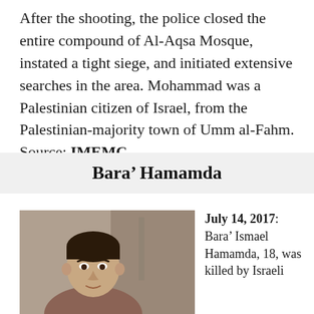After the shooting, the police closed the entire compound of Al-Aqsa Mosque, instated a tight siege, and initiated extensive searches in the area. Mohammad was a Palestinian citizen of Israel, from the Palestinian-majority town of Umm al-Fahm. Source: IMEMC
Bara' Hamamda
[Figure (photo): Photo of a young man, Bara' Ismael Hamamda, 18, against a mottled background.]
July 14, 2017: Bara' Ismael Hamamda, 18, was killed by Israeli